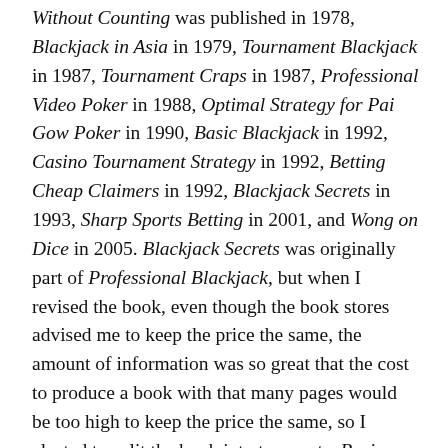Without Counting was published in 1978, Blackjack in Asia in 1979, Tournament Blackjack in 1987, Tournament Craps in 1987, Professional Video Poker in 1988, Optimal Strategy for Pai Gow Poker in 1990, Basic Blackjack in 1992, Casino Tournament Strategy in 1992, Betting Cheap Claimers in 1992, Blackjack Secrets in 1993, Sharp Sports Betting in 2001, and Wong on Dice in 2005. Blackjack Secrets was originally part of Professional Blackjack, but when I revised the book, even though the book stores advised me to keep the price the same, the amount of information was so great that the cost to produce a book with that many pages would be too high to keep the price the same, so I elected to split the book into two parts. Basic